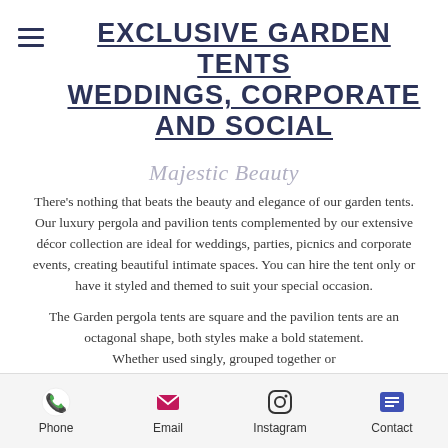EXCLUSIVE GARDEN TENTS WEDDINGS, CORPORATE AND SOCIAL
Majestic Beauty
There's nothing that beats the beauty and elegance of our garden tents. Our luxury pergola and pavilion tents complemented by our extensive décor collection are ideal for weddings, parties, picnics and corporate events, creating beautiful intimate spaces. You can hire the tent only or have it styled and themed to suit your special occasion.
The Garden pergola tents are square and the pavilion tents are an octagonal shape, both styles make a bold statement. Whether used singly, grouped together or
Phone  Email  Instagram  Contact